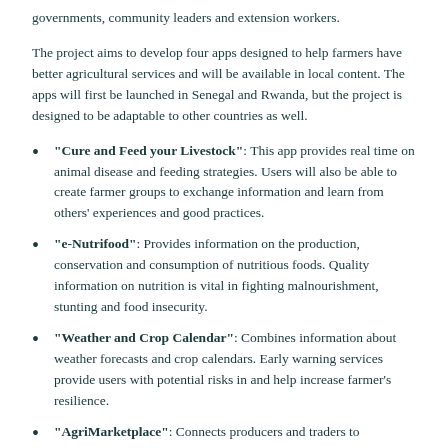governments, community leaders and extension workers.
The project aims to develop four apps designed to help farmers have better agricultural services and will be available in local content. The apps will first be launched in Senegal and Rwanda, but the project is designed to be adaptable to other countries as well.
"Cure and Feed your Livestock": This app provides real time on animal disease and feeding strategies. Users will also be able to create farmer groups to exchange information and learn from others' experiences and good practices.
"e-Nutrifood": Provides information on the production, conservation and consumption of nutritious foods. Quality information on nutrition is vital in fighting malnourishment, stunting and food insecurity.
"Weather and Crop Calendar": Combines information about weather forecasts and crop calendars. Early warning services provide users with potential risks in and help increase farmer's resilience.
"AgriMarketplace": Connects producers and traders to